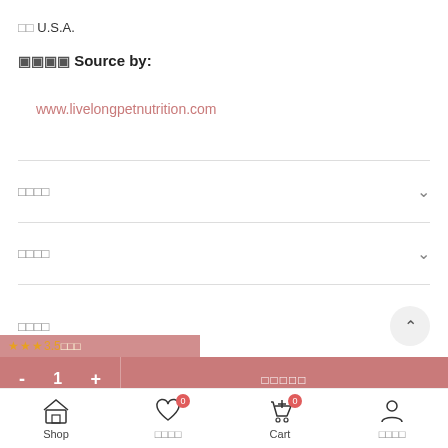⬜⬜ U.S.A.
⬜⬜⬜⬜ Source by:
www.livelongpetnutrition.com
⬜⬜⬜⬜
⬜⬜⬜⬜
⬜⬜⬜⬜
⬜⬜⬜ 3.5 (⬜⬜⬜)
- 1 +  ⬜⬜⬜⬜⬜
Shop  ⬜⬜⬜⬜  Cart  ⬜⬜⬜⬜